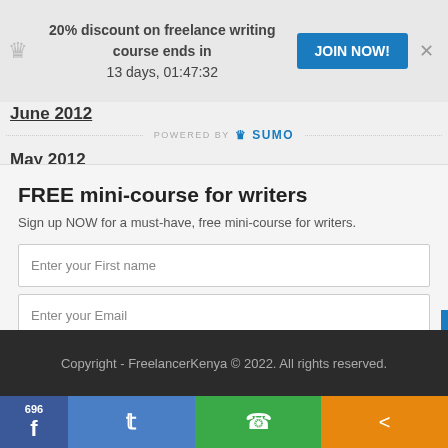20% discount on freelance writing course ends in 13 days, 01:47:32 JOIN NOW!
June 2012
POWERED BY SUMO
May 2012
FREE mini-course for writers
Sign up NOW for a must-have, free mini-course for writers.
Enter your First name
Enter your Email
SUBSCRIBE NOW
Copyright - FreelancerKenya © 2022. All rights reserved.
696